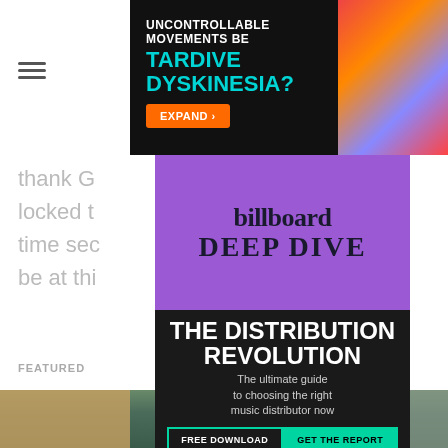thank G... be all locked t... as time sec... dude to be at thi... e most."
FEATURED
[Figure (screenshot): Advertisement for Tardive Dyskinesia medication with text 'UNCONTROLLABLE MOVEMENTS BE TARDIVE DYSKINESIA?' and an orange EXPAND button, colorful abstract background on right]
[Figure (infographic): Billboard Deep Dive advertisement with purple header showing 'billboard DEEP DIVE' and black lower section with 'THE DISTRIBUTION REVOLUTION - The ultimate guide to choosing the right music distributor now' with FREE DOWNLOAD and GET THE REPORT buttons]